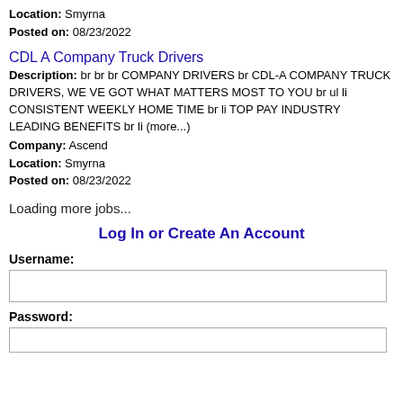Location: Smyrna
Posted on: 08/23/2022
CDL A Company Truck Drivers
Description: br br br COMPANY DRIVERS br CDL-A COMPANY TRUCK DRIVERS, WE VE GOT WHAT MATTERS MOST TO YOU br ul li CONSISTENT WEEKLY HOME TIME br li TOP PAY INDUSTRY LEADING BENEFITS br li (more...)
Company: Ascend
Location: Smyrna
Posted on: 08/23/2022
Loading more jobs...
Log In or Create An Account
Username:
Password: